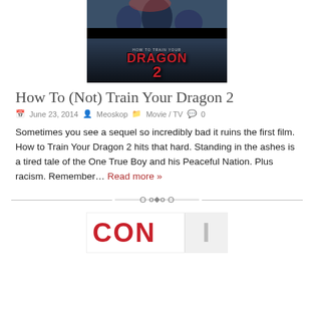[Figure (photo): Movie poster for How To Train Your Dragon 2, showing characters at the top and the red dragon logo text with a '2']
How To (Not) Train Your Dragon 2
June 23, 2014  Meoskop  Movie / TV  0
Sometimes you see a sequel so incredibly bad it ruins the first film. How to Train Your Dragon 2 hits that hard. Standing in the ashes is a tired tale of the One True Boy and his Peaceful Nation. Plus racism. Remember… Read more »
[Figure (photo): Partial view of another movie/article image at the bottom, showing large red letters 'CON' and a white bar with a partial letter]